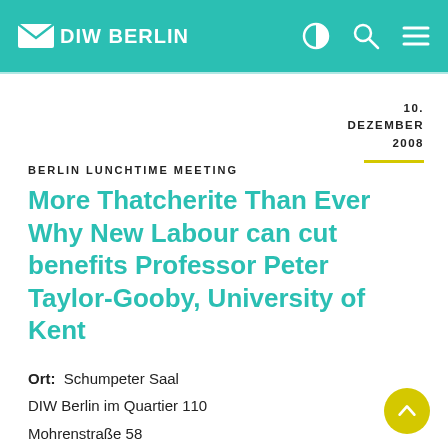DIW BERLIN
10. DEZEMBER 2008
BERLIN LUNCHTIME MEETING
More Thatcherite Than Ever Why New Labour can cut benefits Professor Peter Taylor-Gooby, University of Kent
Ort:  Schumpeter Saal
DIW Berlin im Quartier 110
Mohrenstraße 58
10117 Berlin